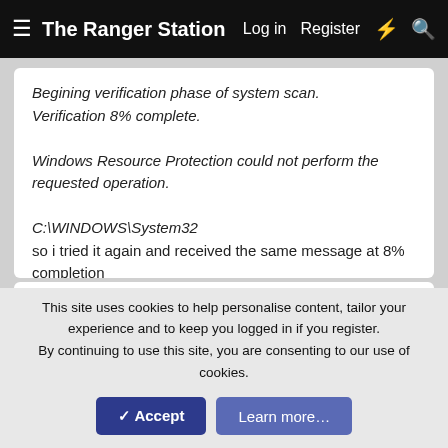The Ranger Station   Log in   Register
Begining verification phase of system scan.
Verification 8% complete.

Windows Resource Protection could not perform the requested operation.

C:\WINDOWS\System32
so i tried it again and received the same message at 8% completion
Last edited: Oct 19, 2021
youngbuckwithapickuptruck
Member
This site uses cookies to help personalise content, tailor your experience and to keep you logged in if you register.
By continuing to use this site, you are consenting to our use of cookies.